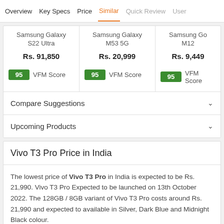Overview | Key Specs | Price | Similar | Quick Review | User
| Samsung Galaxy S22 Ultra | Samsung Galaxy M53 5G | Samsung Go M12 |
| --- | --- | --- |
| Rs. 91,850 | Rs. 20,999 | Rs. 9,449 |
| 95 VFM Score | 95 VFM Score | 95 VFM Score |
Compare Suggestions
Upcoming Products
Vivo T3 Pro Price in India
The lowest price of Vivo T3 Pro in India is expected to be Rs. 21,990. Vivo T3 Pro Expected to be launched on 13th October 2022. The 128GB / 8GB variant of Vivo T3 Pro costs around Rs. 21,990 and expected to available in Silver, Dark Blue and Midnight Black colour.